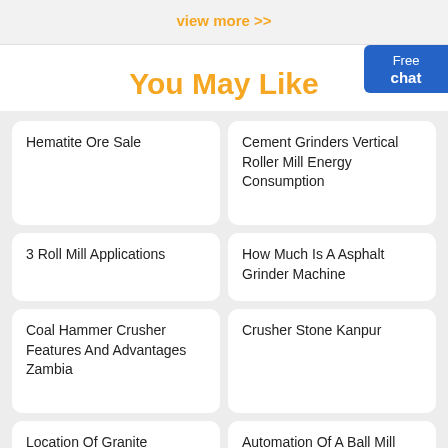view more >>
You May Like
Hematite Ore Sale
Cement Grinders Vertical Roller Mill Energy Consumption
3 Roll Mill Applications
How Much Is A Asphalt Grinder Machine
Coal Hammer Crusher Features And Advantages Zambia
Crusher Stone Kanpur
Location Of Granite
Automation Of A Ball Mill